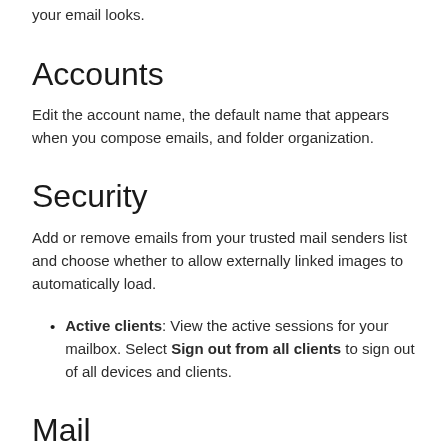your email looks.
Accounts
Edit the account name, the default name that appears when you compose emails, and folder organization.
Security
Add or remove emails from your trusted mail senders list and choose whether to allow externally linked images to automatically load.
Active clients: View the active sessions for your mailbox. Select Sign out from all clients to sign out of all devices and clients.
Mail